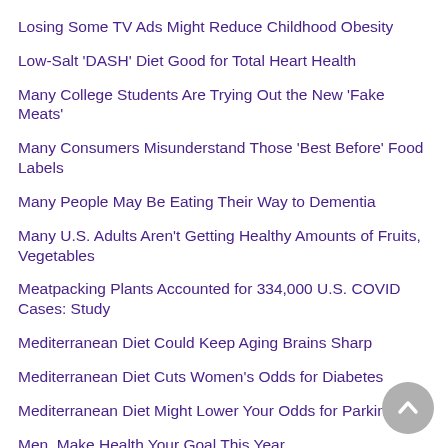Losing Some TV Ads Might Reduce Childhood Obesity
Low-Salt 'DASH' Diet Good for Total Heart Health
Many College Students Are Trying Out the New 'Fake Meats'
Many Consumers Misunderstand Those 'Best Before' Food Labels
Many People May Be Eating Their Way to Dementia
Many U.S. Adults Aren't Getting Healthy Amounts of Fruits, Vegetables
Meatpacking Plants Accounted for 334,000 U.S. COVID Cases: Study
Mediterranean Diet Could Keep Aging Brains Sharp
Mediterranean Diet Cuts Women's Odds for Diabetes
Mediterranean Diet Might Lower Your Odds for Parkinson's
Men, Make Health Your Goal This Year
Metabolites' From Food Could Affect Your Stroke Risk